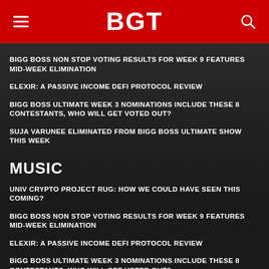BGT
BIGG BOSS NON STOP VOTING RESULTS FOR WEEK 9 FEATURES MID-WEEK ELIMINATION
ELEXIR: A PASSIVE INCOME DEFI PROTOCOL REVIEW
BIGG BOSS ULTIMATE WEEK 3 NOMINATIONS INCLUDE THESE 8 CONTESTANTS, WHO WILL GET VOTED OUT?
SUJA VARUNEE ELIMINATED FROM BIGG BOSS ULTIMATE SHOW THIS WEEK
MUSIC
UNIV CRYPTO PROJECT RUG: HOW WE COULD HAVE SEEN THIS COMING?
BIGG BOSS NON STOP VOTING RESULTS FOR WEEK 9 FEATURES MID-WEEK ELIMINATION
ELEXIR: A PASSIVE INCOME DEFI PROTOCOL REVIEW
BIGG BOSS ULTIMATE WEEK 3 NOMINATIONS INCLUDE THESE 8 CONTESTANTS, WHO WILL GET VOTED OUT?
SUJA VARUNEE ELIMINATED FROM BIGG BOSS ULTIMATE SHOW THIS WEEK